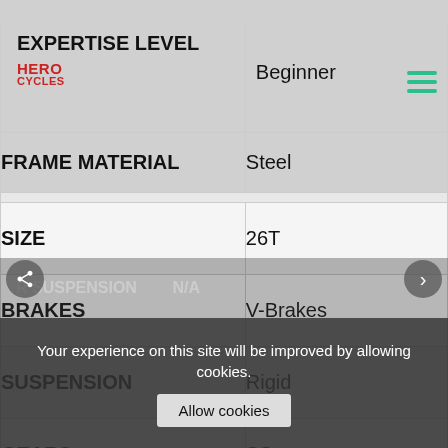| Attribute | Value |
| --- | --- |
| EXPERTISE LEVEL | Beginner |
| FRAME MATERIAL | Steel |
| SIZE | 26T |
| BRAKES | V-Brakes |
| SUSPENSION | Rigid |
| GEARS | SS |
| COLOR | Green,Orange |
| FRONT SUSPENSION | Rigid |
Your experience on this site will be improved by allowing cookies. Allow cookies